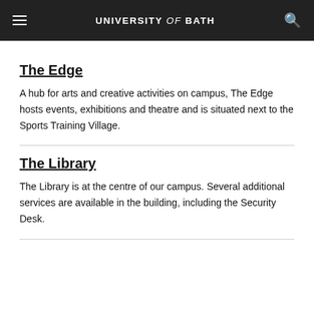UNIVERSITY of BATH
The Edge
A hub for arts and creative activities on campus, The Edge hosts events, exhibitions and theatre and is situated next to the Sports Training Village.
The Library
The Library is at the centre of our campus. Several additional services are available in the building, including the Security Desk.